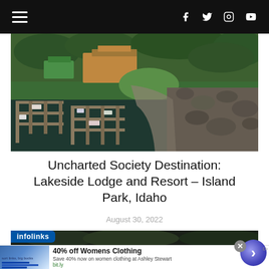Navigation bar with hamburger menu and social icons (Facebook, Twitter, Instagram, YouTube)
[Figure (photo): Aerial view of Lakeside Lodge and Resort at Island Park, Idaho, showing buildings surrounded by trees, a marina with boat docks extending into dark water, and a rocky shoreline.]
Uncharted Society Destination: Lakeside Lodge and Resort – Island Park, Idaho
August 30, 2022
[Figure (photo): Partial second photo strip showing dark forested scene below the article title.]
infolinks
40% off Womens Clothing
Save 40% now on women clothing at Ashley Stewart
bit.ly